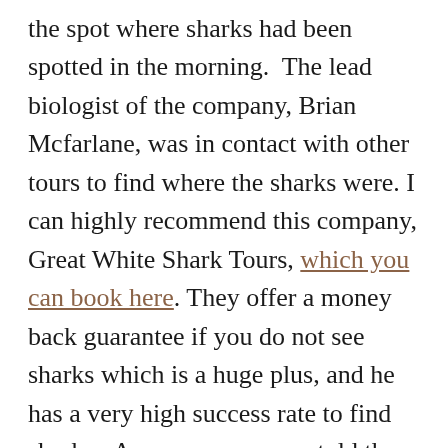the spot where sharks had been spotted in the morning. The lead biologist of the company, Brian Mcfarlane, was in contact with other tours to find where the sharks were. I can highly recommend this company, Great White Shark Tours, which you can book here. They offer a money back guarantee if you do not see sharks which is a huge plus, and he has a very high success rate to find sharks. Anyways, we were told the early morning boats saw two great whites, so I was so excited to hear that they were in the area. We anchored right next to the boat (who would be leaving shortly) and we got